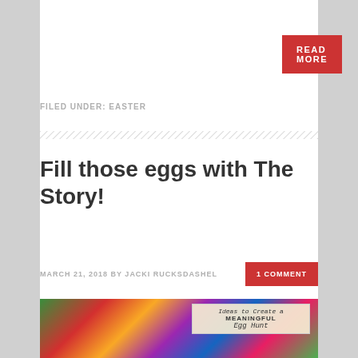READ MORE
FILED UNDER: EASTER
Fill those eggs with The Story!
MARCH 21, 2018 BY JACKI RUCKSDASHEL
1 COMMENT
[Figure (photo): Colorful plastic Easter eggs with text overlay reading 'Ideas to Create a MEANINGFUL Egg Hunt']